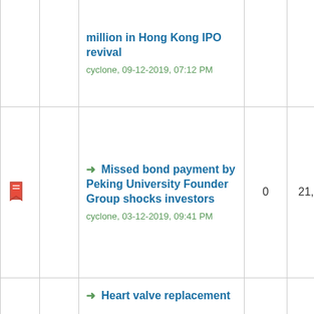|  |  | Thread Title | Replies | Views | Rating |
| --- | --- | --- | --- | --- | --- |
|  |  | million in Hong Kong IPO revival
cyclone, 09-12-2019, 07:12 PM |  |  |  |
|  | 📌 | → Missed bond payment by Peking University Founder Group shocks investors
cyclone, 03-12-2019, 09:41 PM | 0 | 21,074 | ☆☆☆☆☆ |
|  |  | → Heart valve replacement |  |  |  |